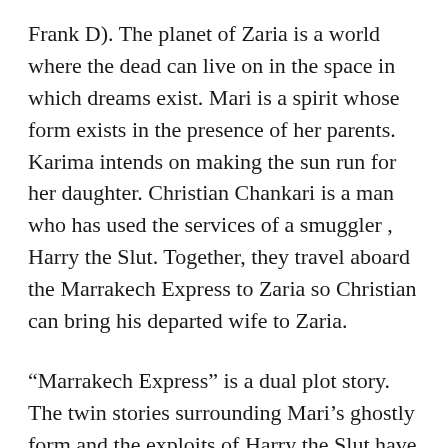Frank D). The planet of Zaria is a world where the dead can live on in the space in which dreams exist. Mari is a spirit whose form exists in the presence of her parents. Karima intends on making the sun run for her daughter. Christian Chankari is a man who has used the services of a smuggler , Harry the Slut. Together, they travel aboard the Marrakech Express to Zaria so Christian can bring his departed wife to Zaria.
“Marrakech Express” is a dual plot story. The twin stories surrounding Mari’s ghostly form and the exploits of Harry the Slut have very little in common. Each storyline follows a confusing path until the characters meet in the climax of the piece.
I found this story to be a difficult one to get through. The characters all have odd motives. The rules of the dream state and how they related to the dead I